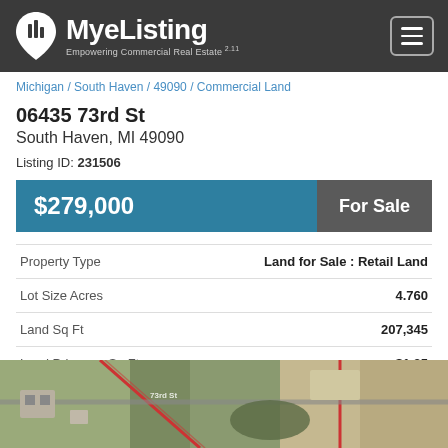MyeListing – Empowering Commercial Real Estate
Michigan / South Haven / 49090 / Commercial Land
06435 73rd St
South Haven, MI 49090
Listing ID: 231506
|  |  |
| --- | --- |
| $279,000 | For Sale |
| Property Type | Land for Sale : Retail Land |
| Lot Size Acres | 4.760 |
| Land Sq Ft | 207,345 |
| Land Price per Sq Ft | $1.35 |
[Figure (map): Aerial satellite map showing the property at 06435 73rd St, South Haven, MI 49090 with surrounding roads and land parcels.]